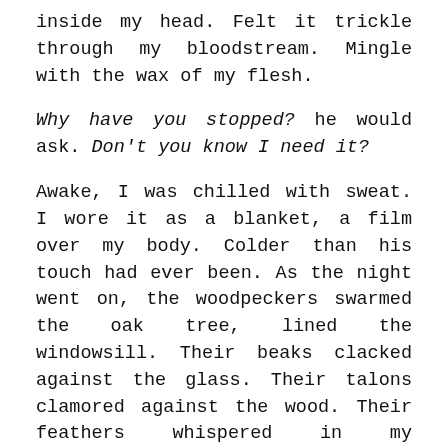inside my head. Felt it trickle through my bloodstream. Mingle with the wax of my flesh.
Why have you stopped? he would ask. Don't you know I need it?
Awake, I was chilled with sweat. I wore it as a blanket, a film over my body. Colder than his touch had ever been. As the night went on, the woodpeckers swarmed the oak tree, lined the windowsill. Their beaks clacked against the glass. Their talons clamored against the wood. Their feathers whispered in my husband's voice.
They were here for my blood. Didn't they have a right to it? I began to think that